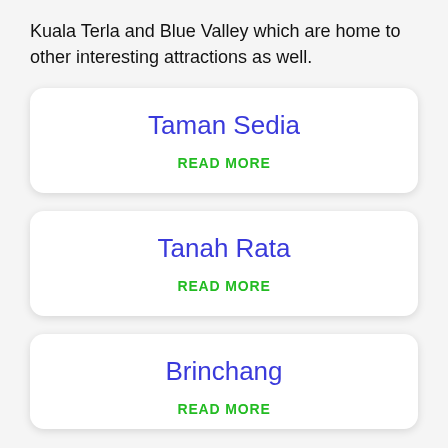Kuala Terla and Blue Valley which are home to other interesting attractions as well.
Taman Sedia
READ MORE
Tanah Rata
READ MORE
Brinchang
READ MORE